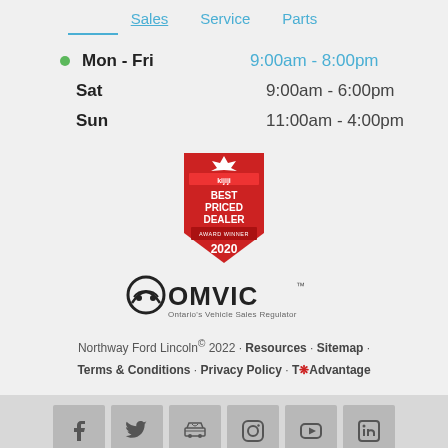Sales | Service | Parts
Mon - Fri  9:00am - 8:00pm
Sat  9:00am - 6:00pm
Sun  11:00am - 4:00pm
[Figure (logo): kijiji Best Priced Dealer Award Winner 2020 badge]
[Figure (logo): OMVIC - Ontario's Vehicle Sales Regulator logo]
Northway Ford Lincoln© 2022 · Resources · Sitemap · Terms & Conditions · Privacy Policy · T*Advantage
[Figure (other): Social media icons: Facebook, Twitter, email/car, Instagram, YouTube, LinkedIn]